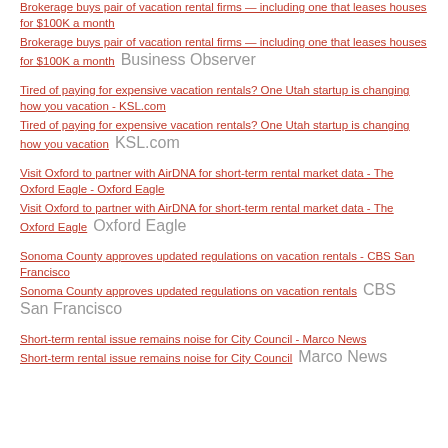Brokerage buys pair of vacation rental firms — including one that leases houses for $100K a month Business Observer
Tired of paying for expensive vacation rentals? One Utah startup is changing how you vacation - KSL.com  KSL.com
Visit Oxford to partner with AirDNA for short-term rental market data - The Oxford Eagle - Oxford Eagle  Oxford Eagle
Sonoma County approves updated regulations on vacation rentals - CBS San Francisco  CBS San Francisco
Short-term rental issue remains noise for City Council - Marco News  Marco News